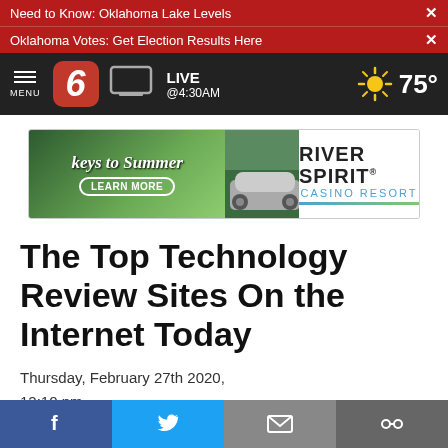Need to Know: Oklahoma Lake Levels
Oklahoma Votes: Get Election Results Here
[Figure (screenshot): News On 6 navigation bar with logo, LIVE @4:30AM text, and weather showing 75 degrees]
[Figure (illustration): River Spirit Casino Resort advertisement with Keys to Summer tagline and Learn More button]
The Top Technology Review Sites On the Internet Today
Thursday, February 27th 2020,
12:10 pm
By: News On 6
[Figure (infographic): Social share bar with Facebook, Twitter, email, and link buttons]